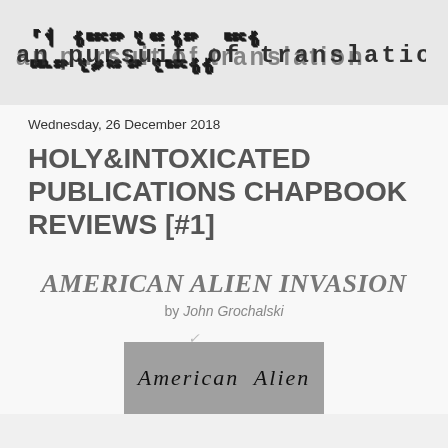an pursuit of translation
Wednesday, 26 December 2018
HOLY&INTOXICATED PUBLICATIONS CHAPBOOK REVIEWS [#1]
AMERICAN ALIEN INVASION
by John Grochalski
[Figure (photo): Book cover showing text 'American Alien' on a grey background rectangle]